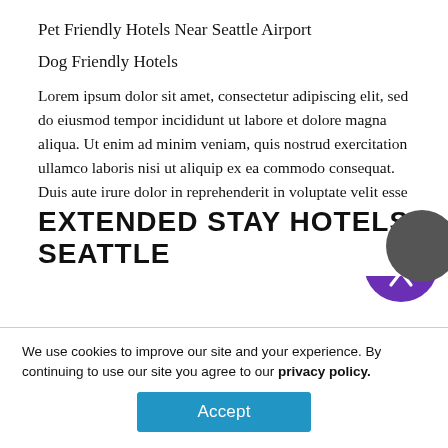Pet Friendly Hotels Near Seattle Airport
Dog Friendly Hotels
Lorem ipsum dolor sit amet, consectetur adipiscing elit, sed do eiusmod tempor incididunt ut labore et dolore magna aliqua. Ut enim ad minim veniam, quis nostrud exercitation ullamco laboris nisi ut aliquip ex ea commodo consequat. Duis aute irure dolor in reprehenderit in voluptate velit esse cillum dolore fugiat nulla pariatur. Excepteur sint occaecat cupidatat non proident, sunt in culpa qui officia deserunt mollit anim id est laborum.
[Figure (logo): Accessibility icon: white person with arms outstretched in a purple circle]
EXTENDED STAY HOTELS SEATTLE
[Figure (other): Dark grey circle partially visible at bottom right]
We use cookies to improve our site and your experience. By continuing to use our site you agree to our privacy policy.
Accept